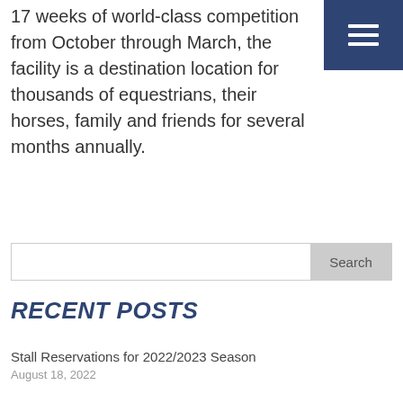17 weeks of world-class competition from October through March, the facility is a destination location for thousands of equestrians, their horses, family and friends for several months annually.
[Figure (other): Navigation hamburger menu button with three white horizontal lines on a dark navy blue square background, positioned in the top-right corner.]
RECENT POSTS
Stall Reservations for 2022/2023 Season
August 18, 2022